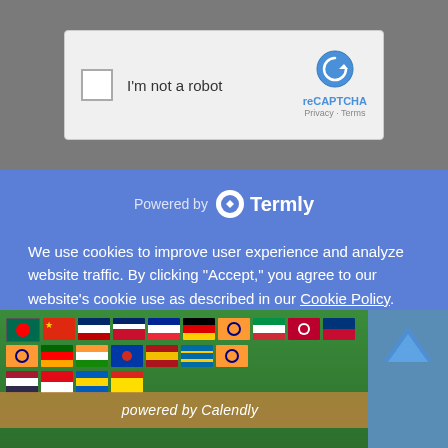[Figure (screenshot): reCAPTCHA widget with checkbox labeled 'I'm not a robot' and reCAPTCHA logo on the right showing Privacy and Terms links]
[Figure (screenshot): Cookie consent banner powered by Termly with blue background. Text reads: 'We use cookies to improve user experience and analyze website traffic. By clicking Accept, you agree to our website's cookie use as described in our Cookie Policy. You can change your cookie settings at any time by clicking Preferences.' Three buttons: DECLINE, ACCEPT, and PREFERENCES.]
[Figure (screenshot): Bottom portion of a webpage showing a row of country flags and a Calendly-powered bar with text 'powered by Calendly']